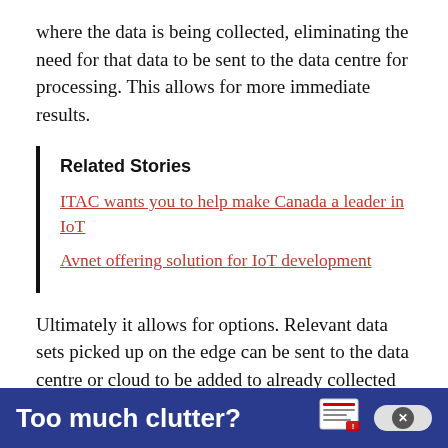where the data is being collected, eliminating the need for that data to be sent to the data centre for processing. This allows for more immediate results.
Related Stories
ITAC wants you to help make Canada a leader in IoT
Avnet offering solution for IoT development
Ultimately it allows for options. Relevant data sets picked up on the edge can be sent to the data centre or cloud to be added to already collected enterprise data. There it will update current analytic models with
Too much clutter?